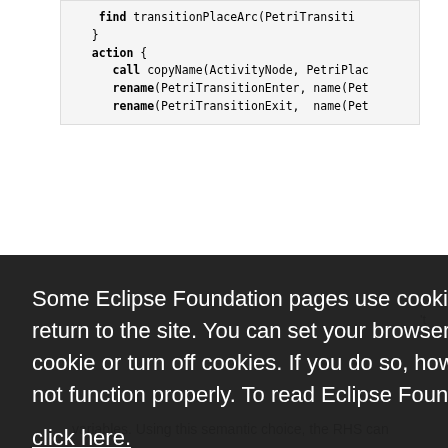[Figure (screenshot): Code snippet showing ATL transformation rule with find transitionPlaceArc, action block with call copyName and rename operations]
Some Eclipse Foundation pages use cookies to better serve you when you return to the site. You can set your browser to notify you before you receive a cookie or turn off cookies. If you do so, however, some areas of some sites may not function properly. To read Eclipse Foundation Privacy Policy click here.
Decline
Allow cookies
variables. Using this semantic choice, the RHS can